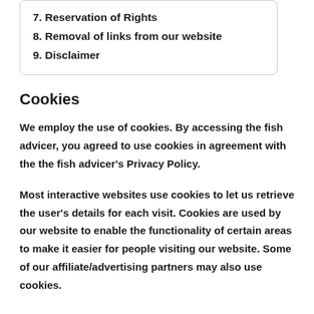7. Reservation of Rights
8. Removal of links from our website
9. Disclaimer
Cookies
We employ the use of cookies. By accessing the fish advicer, you agreed to use cookies in agreement with the the fish advicer's Privacy Policy.
Most interactive websites use cookies to let us retrieve the user's details for each visit. Cookies are used by our website to enable the functionality of certain areas to make it easier for people visiting our website. Some of our affiliate/advertising partners may also use cookies.